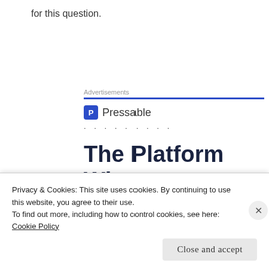for this question.
Advertisements
[Figure (other): Pressable advertisement showing logo, dots, headline 'The Platform Where WordPress Works Best', and a SEE PRICING button]
Privacy & Cookies: This site uses cookies. By continuing to use this website, you agree to their use.
To find out more, including how to control cookies, see here: Cookie Policy
Close and accept